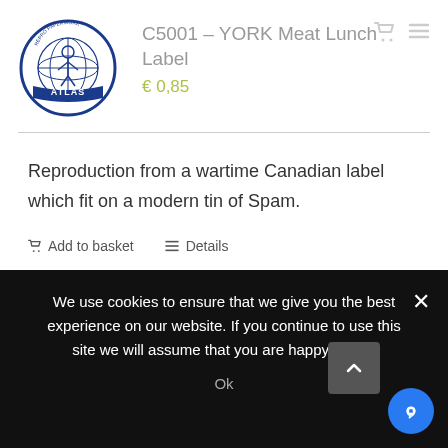[Figure (logo): Atlas Repro Paperwork circular logo with globe and figure]
C5001 – YORK Meat Lunch Label
€ 0.85
Reproduction from a wartime Canadian label which fit on a modern tin of Spam.
Add to basket   Details
We use cookies to ensure that we give you the best experience on our website. If you continue to use this site we will assume that you are happy with it.
Ok